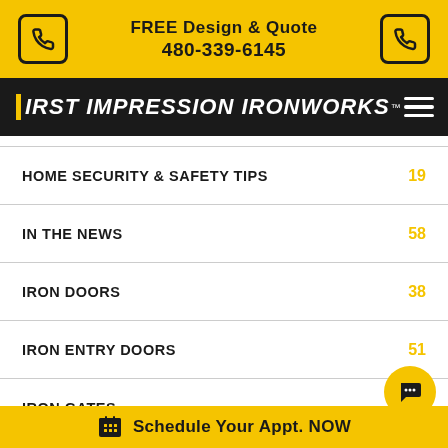FREE Design & Quote 480-339-6145
[Figure (logo): First Impression Ironworks logo with yellow F bar and white italic text on black background]
HOME SECURITY & SAFETY TIPS 19
IN THE NEWS 58
IRON DOORS 38
IRON ENTRY DOORS 51
IRON GATES 24
IRON RAILINGS
Schedule Your Appt. NOW